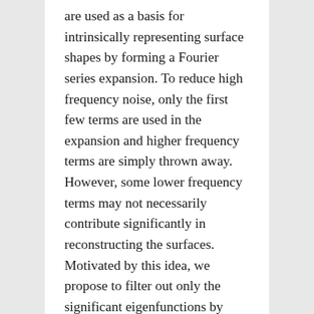are used as a basis for intrinsically representing surface shapes by forming a Fourier series expansion. To reduce high frequency noise, only the first few terms are used in the expansion and higher frequency terms are simply thrown away. However, some lower frequency terms may not necessarily contribute significantly in reconstructing the surfaces. Motivated by this idea, we propose to filter out only the significant eigenfunctions by imposing l1-penalty. The new sparse framework can further avoid additional surface-based smoothing often used in the field. The proposed approach is applied in investigating